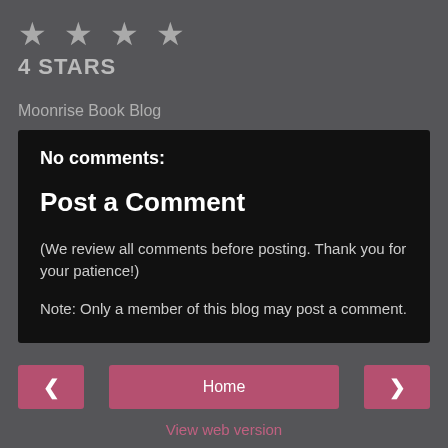★ ★ ★ ★
4 STARS
Moonrise Book Blog
No comments:
Post a Comment
(We review all comments before posting. Thank you for your patience!)
Note: Only a member of this blog may post a comment.
< Home > View web version